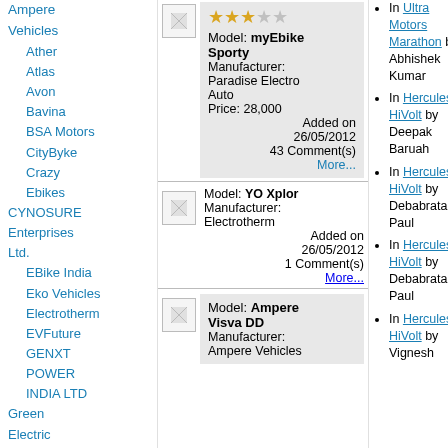Ampere Vehicles
Ather
Atlas
Avon
Bavina
BSA Motors
CityByke
Crazy Ebikes
CYNOSURE Enterprises Ltd.
EBike India
Eko Vehicles
Electrotherm
EVFuture
GENXT POWER INDIA LTD
Green Electric
Hero Electric
Kailash
Kaisar
[Figure (other): Bike listing card with star rating for myEbike Sporty by Paradise Electro Auto]
Model: myEbike Sporty
Manufacturer: Paradise Electro Auto
Price: 28,000
Added on 26/05/2012
43 Comment(s)
More...
[Figure (other): Bike listing card for YO Xplor by Electrotherm]
Model: YO Xplor
Manufacturer: Electrotherm
Added on 26/05/2012
1 Comment(s)
More...
[Figure (other): Bike listing card for Ampere Visva DD]
Model: Ampere Visva DD
Manufacturer: Ampere Vehicles
In Ultra Motors Marathon by Abhishek Kumar
In Hercules HiVolt by Deepak Baruah
In Hercules HiVolt by Debabrata Paul
In Hercules HiVolt by Debabrata Paul
In Hercules HiVolt by Vignesh